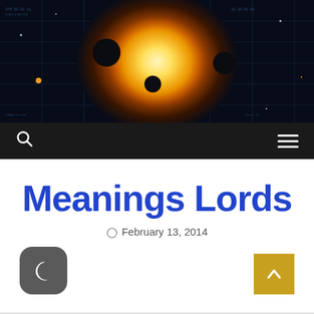[Figure (illustration): Website header banner showing a space scene with a bright golden/orange glowing star or explosion in the center, dark space background with planets or moons silhouetted against it, and sci-fi HUD/data overlay graphics on a dark background.]
Navigation bar with search icon and hamburger menu on dark background
Meanings Lords
February 13, 2014
[Figure (illustration): Dark mode toggle button - rounded square with crescent moon icon in white on gray background]
[Figure (illustration): Scroll to top button - golden/yellow square with white upward chevron arrow]